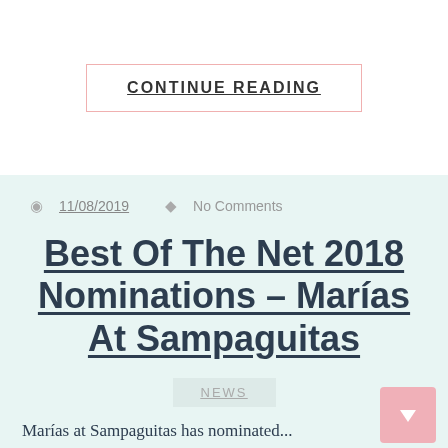CONTINUE READING
11/08/2019   No Comments
Best Of The Net 2018 Nominations – Marías At Sampaguitas
NEWS
Marías at Sampaguitas has nominated...